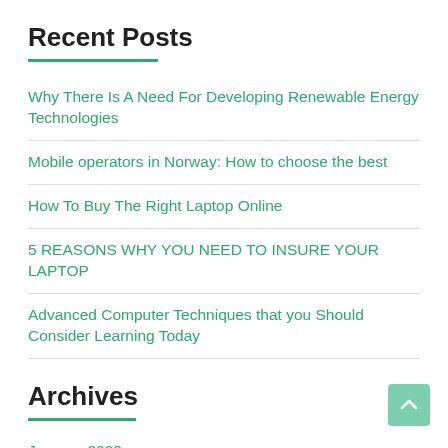Recent Posts
Why There Is A Need For Developing Renewable Energy Technologies
Mobile operators in Norway: How to choose the best
How To Buy The Right Laptop Online
5 REASONS WHY YOU NEED TO INSURE YOUR LAPTOP
Advanced Computer Techniques that you Should Consider Learning Today
Archives
January 2022
November 2021
July 2021